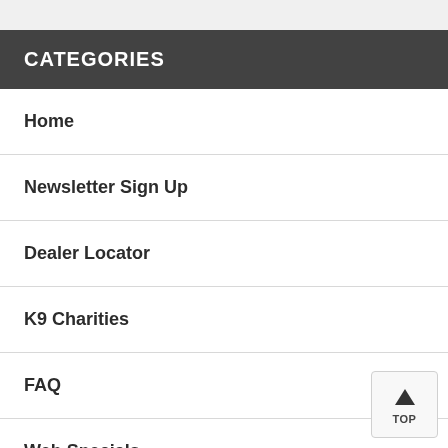CATEGORIES
Home
Newsletter Sign Up
Dealer Locator
K9 Charities
FAQ
Web Specials